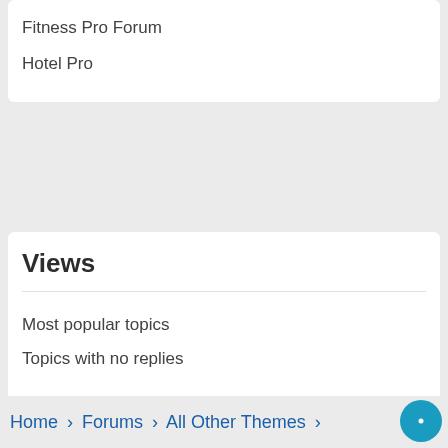Fitness Pro Forum
Hotel Pro
Views
Most popular topics
Topics with no replies
Home › Forums › All Other Themes ›